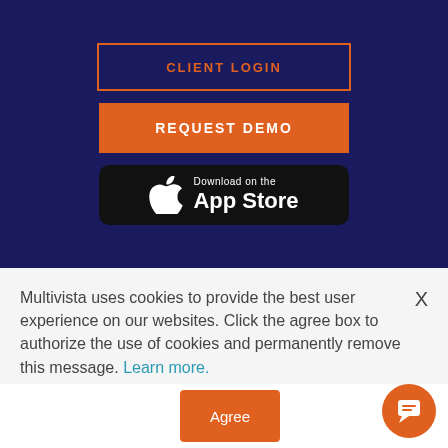[Figure (screenshot): Dark navy blue background section with CLIENT LOGIN button (orange outline), REQUEST DEMO button (orange filled), and Download on the App Store badge (black rounded rectangle with Apple logo)]
Multivista uses cookies to provide the best user experience on our websites. Click the agree box to authorize the use of cookies and permanently remove this message. Learn more.
[Figure (other): Agree button (orange) and chat bubble icon (orange circle with chat icon)]